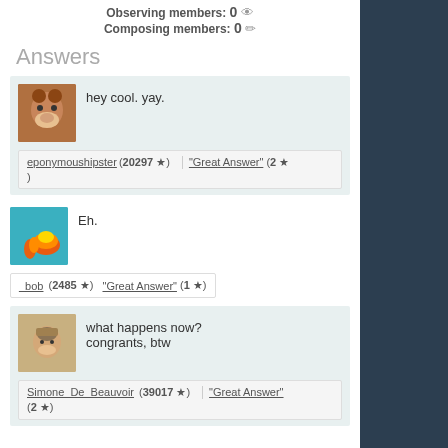Observing members: 0 👁 Composing members: 0 ✏
Answers
hey cool. yay.
eponymoushipster (20297 ★) | "Great Answer" (2 ★)
Eh.
_bob (2485 ★) | "Great Answer" (1 ★)
what happens now?
congrants, btw
Simone_De_Beauvoir (39017 ★) | "Great Answer" (2 ★)